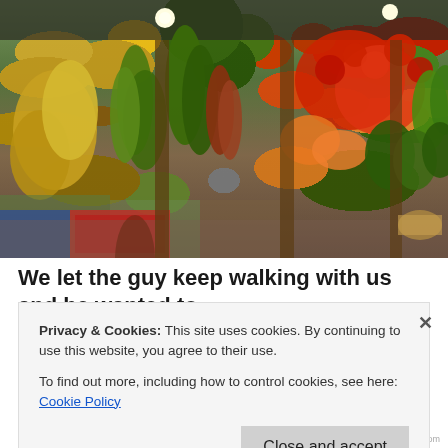[Figure (photo): A fruit market stall with hanging bananas (green and yellow), piles of tomatoes, citrus fruits, melons, and other tropical produce displayed on tables and shelves. People are visible shopping in the background.]
We let the guy keep walking with us and he wanted to
Privacy & Cookies: This site uses cookies. By continuing to use this website, you agree to their use.
To find out more, including how to control cookies, see here: Cookie Policy